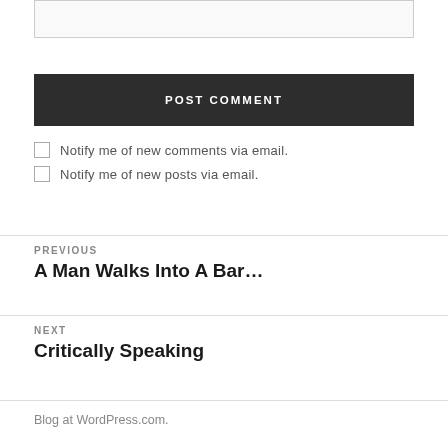[Figure (other): Text input box (comment area, partially visible at top)]
POST COMMENT
Notify me of new comments via email.
Notify me of new posts via email.
PREVIOUS
A Man Walks Into A Bar...
NEXT
Critically Speaking
Blog at WordPress.com.